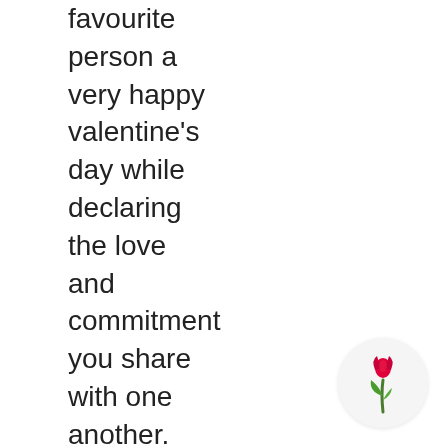favourite person a very happy valentine's day while declaring the love and commitment you share with one another. On the day of love, give your chocolate-loving partner
[Figure (illustration): A small tulip flower illustration inside a circular light grey background, positioned bottom right of the page.]